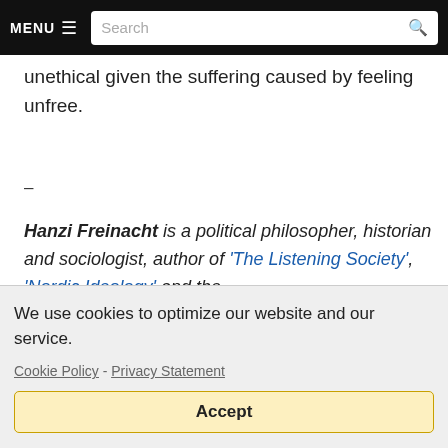MENU ☰  Search
al t is even unethical given the suffering caused by feeling unfree.
–
Hanzi Freinacht is a political philosopher, historian and sociologist, author of 'The Listening Society', 'Nordic Ideology' and the
We use cookies to optimize our website and our service.

Cookie Policy - Privacy Statement

Accept